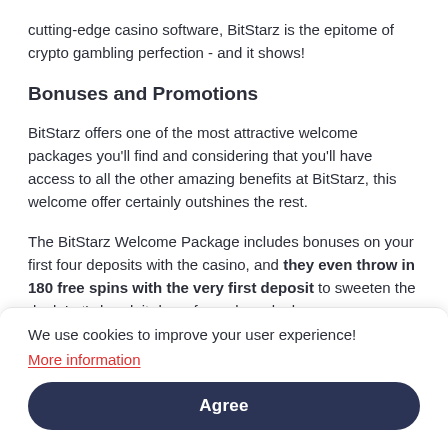cutting-edge casino software, BitStarz is the epitome of crypto gambling perfection - and it shows!
Bonuses and Promotions
BitStarz offers one of the most attractive welcome packages you'll find and considering that you'll have access to all the other amazing benefits at BitStarz, this welcome offer certainly outshines the rest.
The BitStarz Welcome Package includes bonuses on your first four deposits with the casino, and they even throw in 180 free spins with the very first deposit to sweeten the deal. Let's break it down for a closer look.
We use cookies to improve your user experience!
More information
Agree